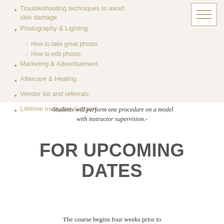Troubleshooting techniques to avoid skin damage
Photography & Lighting
How to take great photos
How to edit photos
Marketing & Advertisement
Aftercare & Healing
Vendor list and referrals
Lifetime Instructor Support
-Students will perform one procedure on a model with instructor supervision.-
FOR UPCOMING DATES
The course begins four weeks prior to